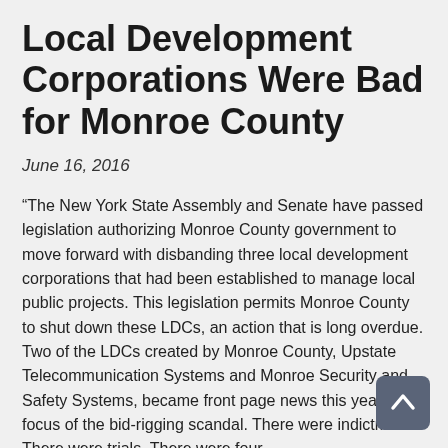Local Development Corporations Were Bad for Monroe County
June 16, 2016
“The New York State Assembly and Senate have passed legislation authorizing Monroe County government to move forward with disbanding three local development corporations that had been established to manage local public projects. This legislation permits Monroe County to shut down these LDCs, an action that is long overdue. Two of the LDCs created by Monroe County, Upstate Telecommunication Systems and Monroe Security and Safety Systems, became front page news this year, the focus of the bid-rigging scandal. There were indictments. There were trials. There were four